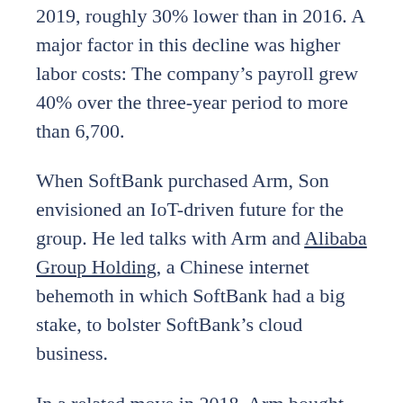2019, roughly 30% lower than in 2016. A major factor in this decline was higher labor costs: The company's payroll grew 40% over the three-year period to more than 6,700.
When SoftBank purchased Arm, Son envisioned an IoT-driven future for the group. He led talks with Arm and Alibaba Group Holding, a Chinese internet behemoth in which SoftBank had a big stake, to bolster SoftBank's cloud business.
In a related move in 2018, Arm bought US data analytics startup Treasure Data to boost its IoT ambitions. But Arm's IoT business failed to